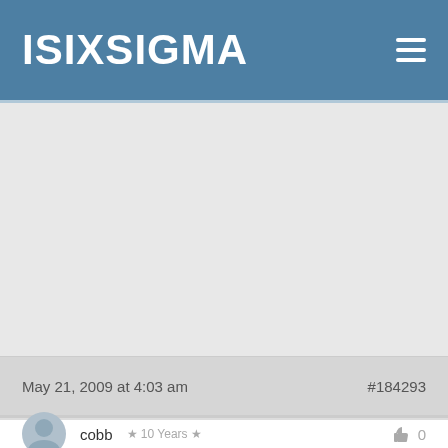ISIXSIGMA
[Figure (other): Large empty gray content area, likely containing an image or advertisement that did not load]
May 21, 2009 at 4:03 am   #184293
cobb  ★ 10 Years ★  0